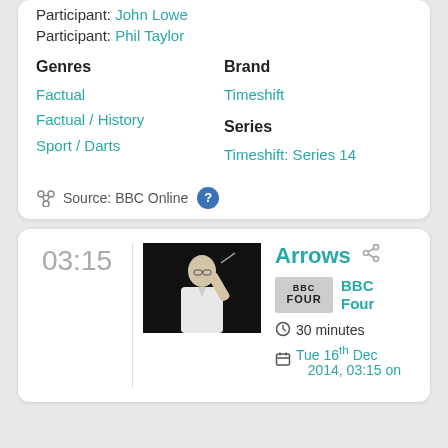Participant: John Lowe
Participant: Phil Taylor
Genres
Brand
Factual
Factual / History
Sport / Darts
Timeshift
Series
Timeshift: Series 14
Source: BBC Online
03:15
[Figure (photo): Person in white shirt holding darts, dark background]
Arrows
[Figure (logo): BBC FOUR logo]
BBC Four
30 minutes
Tue 16th Dec 2014, 03:15 on